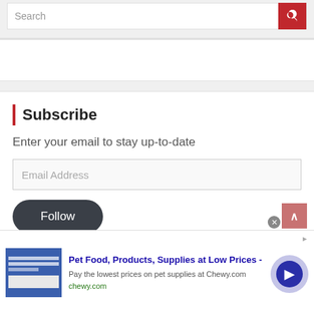[Figure (screenshot): Search bar with red search button icon on the right]
Subscribe
Enter your email to stay up-to-date
[Figure (screenshot): Email Address input field placeholder]
[Figure (screenshot): Dark rounded Follow button]
[Figure (screenshot): Advertisement banner: Pet Food, Products, Supplies at Low Prices - chewy.com]